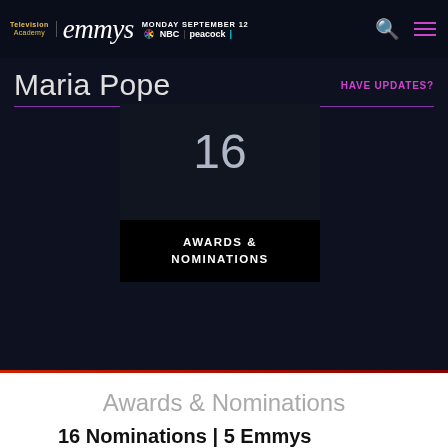Television Academy | emmys MONDAY SEPTEMBER 12 NBC | peacock
Maria Pope
HAVE UPDATES?
16
AWARDS &
NOMINATIONS
Awards & Nominations
16 Nominations | 5 Emmys
Outstanding Variety Talk Series -